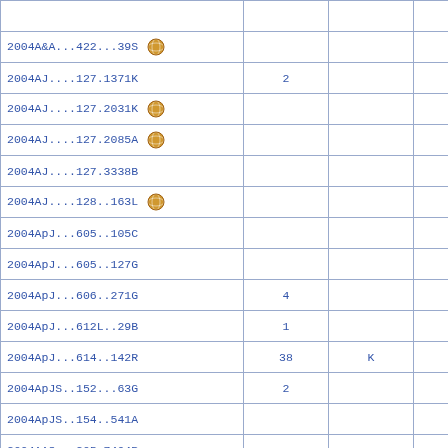|  |  |  |  |
| --- | --- | --- | --- |
| 2004A&A...422...39S [icon] |  |  |  |
| 2004AJ....127.1371K | 2 |  |  |
| 2004AJ....127.2031K [icon] |  |  |  |
| 2004AJ....127.2085A [icon] |  |  |  |
| 2004AJ....127.3338B |  |  |  |
| 2004AJ....128..163L [icon] |  |  |  |
| 2004ApJ...605..105C |  |  |  |
| 2004ApJ...605..127G |  |  |  |
| 2004ApJ...606..271G | 4 |  |  |
| 2004ApJ...612L..29B | 1 |  |  |
| 2004ApJ...614..142R | 38 | K |  |
| 2004ApJS..152...63G | 2 |  |  |
| 2004ApJS..154..541A |  |  |  |
| 2004AAS...205.7404R |  |  |  |
| 2005A&A...436...75H |  |  |  |
| 2005A&A...436..443V [icon] | 15 |  | D |
| 2005A&A...437..389M |  |  |  |
| 2005A&A...441.1011G | 49 | K |  |